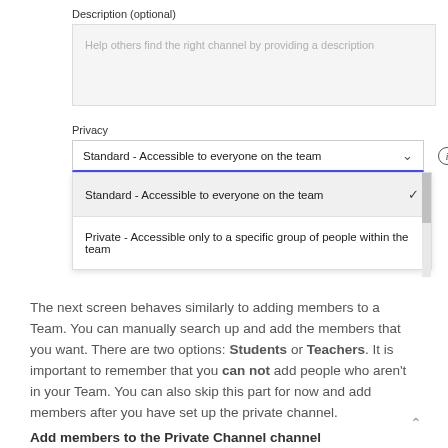Description (optional)
[Figure (screenshot): A text input field labeled 'Description (optional)' with placeholder text 'Help others find the right channel by providing a description']
Privacy
[Figure (screenshot): A dropdown control showing 'Standard - Accessible to everyone on the team' with a chevron and info icon, expanded to show two options: 'Standard - Accessible to everyone on the team' (selected with checkmark) and 'Private - Accessible only to a specific group of people within the team']
The next screen behaves similarly to adding members to a Team. You can manually search up and add the members that you want. There are two options: Students or Teachers. It is important to remember that you can not add people who aren't in your Team. You can also skip this part for now and add members after you have set up the private channel.
Add members to the Private Channel channel